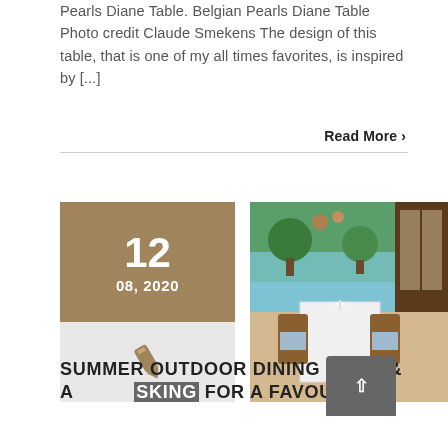Pearls Diane Table. Belgian Pearls Diane Table  Photo credit Claude Smekens The design of this table, that is one of my all times favorites, is inspired by [...]
Read More >
12
08, 2020
[Figure (photo): Outdoor dining table with white tablecloth set near a pool, surrounded by garden chairs with blue cushions, topiary trees, and an open French door]
SUMMER OUTDOOR DINING NOOK & ASKING FOR A FAVOUR